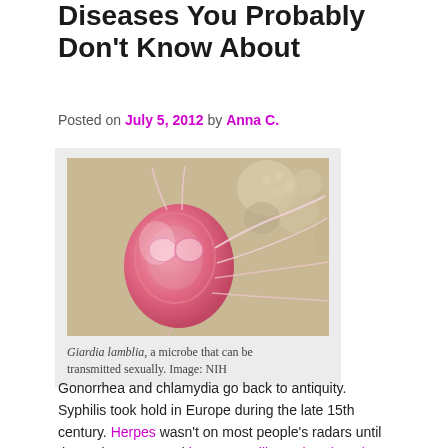Diseases You Probably Don't Know About
Posted on July 5, 2012 by Anna C.
[Figure (photo): Microscopic image of Giardia lamblia, a pear-shaped protozoan parasite with flagella, shown against a background of other microbes. Image courtesy of NIH.]
Giardia lamblia, a microbe that can be transmitted sexually. Image: NIH
Gonorrhea and chlamydia go back to antiquity. Syphilis took hold in Europe during the late 15th century. Herpes wasn't on most people's radars until the early 1980s, and human papillomavirus (HPV) was relegated to relative obscurity in the popular imagination until the HPV vaccines made their debuts less than a decade ago.